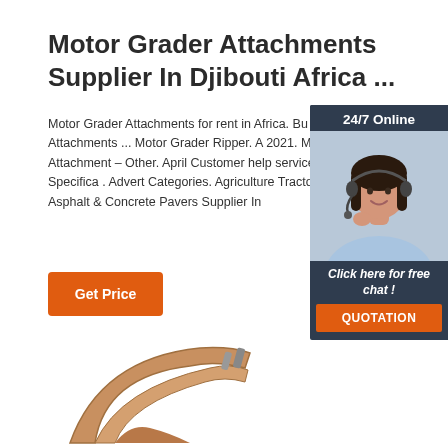Motor Grader Attachments Supplier In Djibouti Africa ...
Motor Grader Attachments for rent in Africa. Bu Grader Attachments ... Motor Grader Ripper. A 2021. Motor Grader Attachment – Other. April Customer help service. Enquiry Now. Specifica . Advert Categories. Agriculture Tractors Supp Africa. Asphalt & Concrete Pavers Supplier In
[Figure (other): Orange 'Get Price' button]
[Figure (other): Chat widget with '24/7 Online' header, woman with headset photo, 'Click here for free chat!' text, and orange QUOTATION button]
[Figure (photo): Partial image of a motor grader attachment (ripper/blade) in tan/orange color at bottom of page]